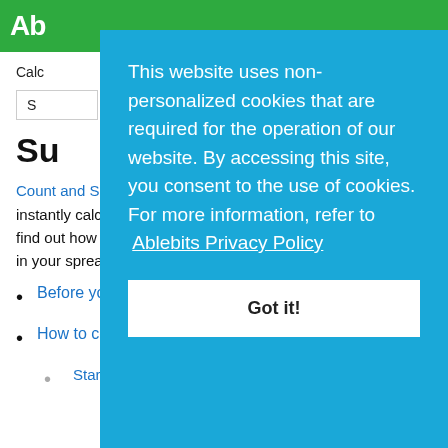Ab
Calc
S
Su
Count and Sum by Color is a helpful Excel add-in that lets you instantly calculate cells of the same tint. On this page, you will find out how to use the tool to sum and count the colored data in your spreadsheet.
Before you start
How to count colored cells in Excel
Start Sum by Color
This website uses non-personalized cookies that are required for the operation of our website. By accessing this site, you consent to the use of cookies. For more information, refer to Ablebits Privacy Policy
Got it!